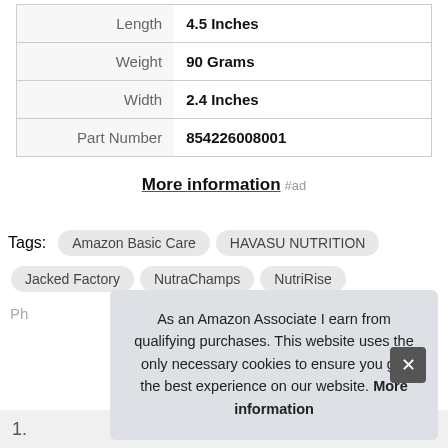| Length | 4.5 Inches |
| Weight | 90 Grams |
| Width | 2.4 Inches |
| Part Number | 854226008001 |
More information #ad
Tags: Amazon Basic Care  HAVASU NUTRITION  Jacked Factory  NutraChamps  NutriRise
As an Amazon Associate I earn from qualifying purchases. This website uses the only necessary cookies to ensure you get the best experience on our website. More information